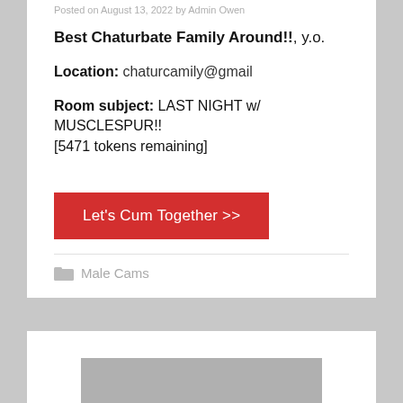Posted on August 13, 2022 by Admin Owen
Best Chaturbate Family Around!!, y.o.
Location: chaturcamily@gmail
Room subject: LAST NIGHT w/ MUSCLESPUR!! [5471 tokens remaining]
Let's Cum Together >>
Male Cams
[Figure (photo): Gray placeholder image at bottom of page]